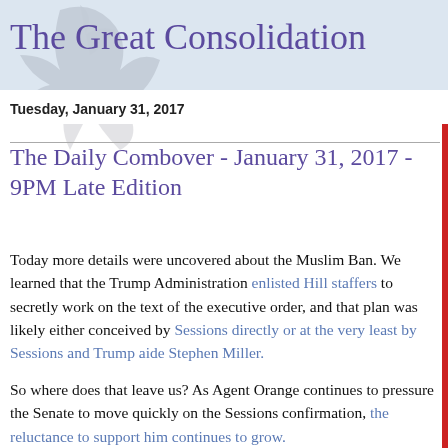The Great Consolidation
Tuesday, January 31, 2017
The Daily Combover - January 31, 2017 - 9PM Late Edition
Today more details were uncovered about the Muslim Ban. We learned that the Trump Administration enlisted Hill staffers to secretly work on the text of the executive order, and that plan was likely either conceived by Sessions directly or at the very least by Sessions and Trump aide Stephen Miller.
So where does that leave us? As Agent Orange continues to pressure the Senate to move quickly on the Sessions confirmation, the reluctance to support him continues to grow.